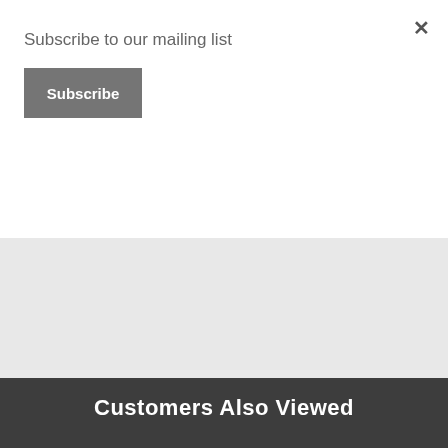Subscribe to our mailing list
Subscribe
×
$23.??
Add to Cart
Add to Cart
Customers Also Viewed